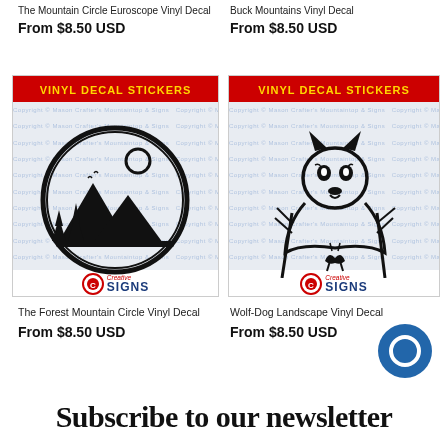The Mountain Circle Euroscope Vinyl Decal
From $8.50 USD
Buck Mountains Vinyl Decal
From $8.50 USD
[Figure (photo): Vinyl decal sticker product image showing a forest mountain circle design with trees and moon, watermarked background, Creative Signs logo at bottom]
[Figure (photo): Vinyl decal sticker product image showing a wolf-dog landscape vinyl decal design, watermarked background, Creative Signs logo at bottom]
The Forest Mountain Circle Vinyl Decal
From $8.50 USD
Wolf-Dog Landscape Vinyl Decal
From $8.50 USD
Subscribe to our newsletter